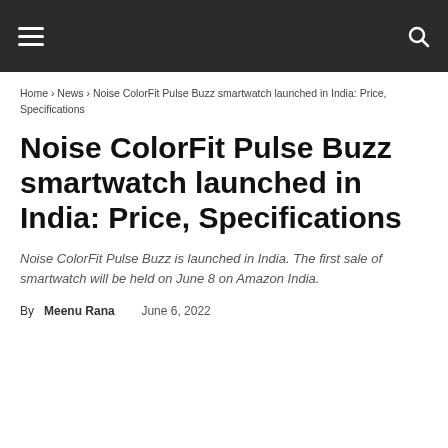Home › News › Noise ColorFit Pulse Buzz smartwatch launched in India: Price, Specifications
Noise ColorFit Pulse Buzz smartwatch launched in India: Price, Specifications
Noise ColorFit Pulse Buzz is launched in India. The first sale of smartwatch will be held on June 8 on Amazon India.
By Meenu Rana   June 6, 2022